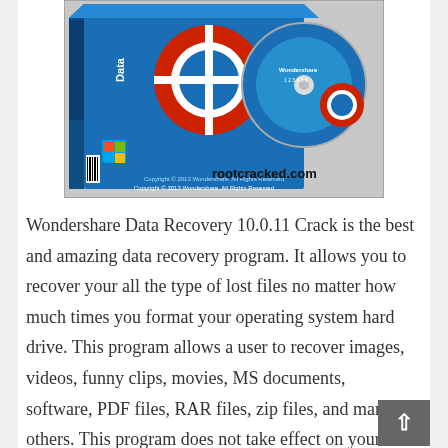[Figure (screenshot): Wondershare Data Recovery software box and CD with life preserver graphic. Text 'rootcracked.com' visible on the image. Blue packaging with Windows logo.]
Wondershare Data Recovery 10.0.11 Crack is the best and amazing data recovery program. It allows you to recover your all the type of lost files no matter how much times you format your operating system hard drive. This program allows a user to recover images, videos, funny clips, movies, MS documents, software, PDF files, RAR files, zip files, and many others. This program does not take effect on your files and recovers your all the files in real format. It keeps securing your operating system files from the virus if they scanned any threat in your files it will remove and